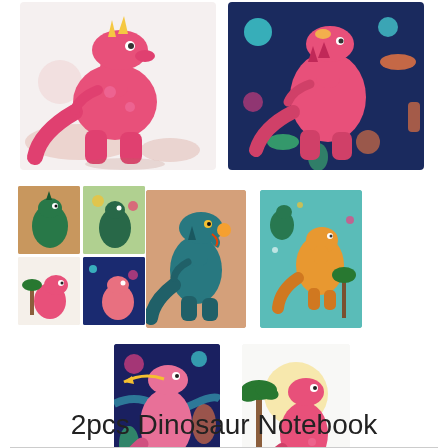[Figure (photo): Product listing page for '2pcs Dinosaur Notebook' showing multiple images of colorful dinosaur-themed notebook covers. Top row: two large images — left shows a pink cartoon dinosaur on white/pink background, right shows a pink dinosaur on dark navy background with colorful abstract shapes. Middle row: a 2x2 grid of four smaller notebook cover thumbnails (earthy/teal tones), a center image of a teal T-rex on peach background, and a right image of dinosaurs on teal background. Bottom row: two images — left shows a pink dinosaur on dark navy abstract background, right shows a pink dinosaur with palm trees on white background.]
2pcs Dinosaur Notebook